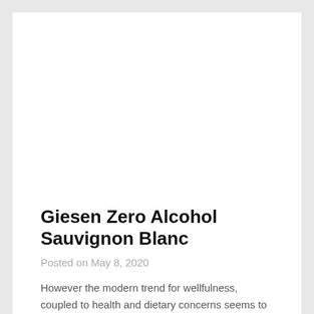[Figure (photo): Large image placeholder (wine bottle or product photo) — white/blank area at top of page]
Giesen Zero Alcohol Sauvignon Blanc
Posted on May 8, 2020
However the modern trend for wellfulness, coupled to health and dietary concerns seems to have